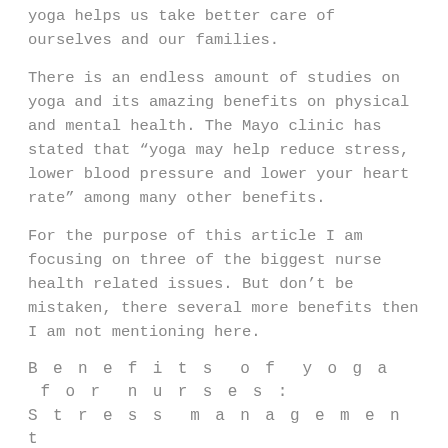yoga helps us take better care of ourselves and our families.
There is an endless amount of studies on yoga and its amazing benefits on physical and mental health. The Mayo clinic has stated that “yoga may help reduce stress, lower blood pressure and lower your heart rate” among many other benefits.
For the purpose of this article I am focusing on three of the biggest nurse health related issues. But don’t be mistaken, there several more benefits then I am not mentioning here.
Benefits of yoga for nurses:
Stress management
As I mentioned earlier, nurses have a high workload in many hospital wards. The stress is compounded by managing patient healthcare needs and treatments, daily occupational stressors and even